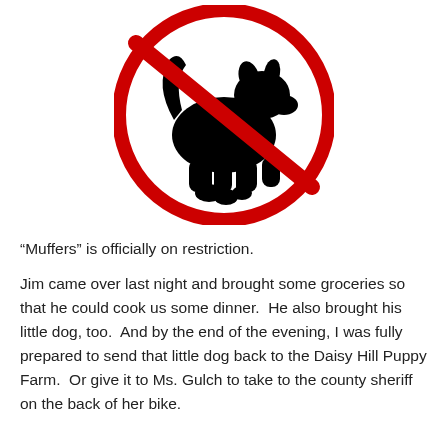[Figure (illustration): A red 'no' symbol (circle with diagonal slash) over a black silhouette of a squatting dog defecating. The sign indicates dogs fouling is prohibited.]
“Muffers” is officially on restriction.
Jim came over last night and brought some groceries so that he could cook us some dinner.  He also brought his little dog, too.  And by the end of the evening, I was fully prepared to send that little dog back to the Daisy Hill Puppy Farm.  Or give it to Ms. Gulch to take to the county sheriff on the back of her bike.